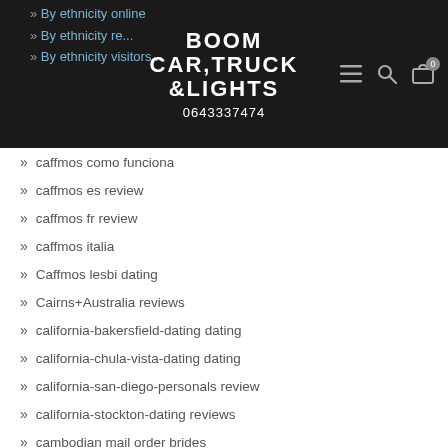BOOM CAR,TRUCK &LIGHTS 0643337474
By ethnicity online
By ethnicity re...
By ethnicity visitors...
caffmos como funciona
caffmos es review
caffmos fr review
caffmos italia
Caffmos lesbi dating
Cairns+Australia reviews
california-bakersfield-dating dating
california-chula-vista-dating dating
california-san-diego-personals review
california-stockton-dating reviews
cambodian mail order brides
cambodian dating dating